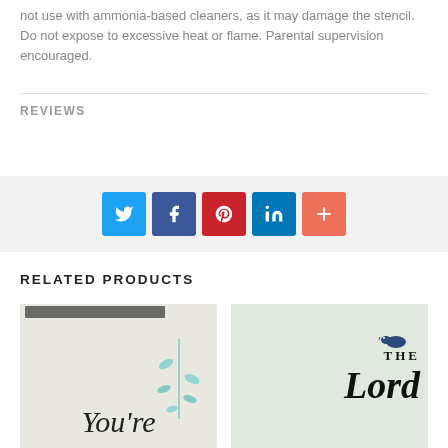not use with ammonia-based cleaners, as it may damage the stencil. Do not expose to excessive heat or flame. Parental supervision encouraged.
REVIEWS
[Figure (infographic): Social sharing buttons row: Twitter (blue), Facebook (dark blue), Pinterest (red), LinkedIn (blue), More/Plus (orange-red)]
RELATED PRODUCTS
[Figure (photo): Product image showing 'You're' in cursive script with teal leaf branch decoration on a distressed light background]
[Figure (photo): Product image showing 'THE Lord' text in bold brush script with a small blue bird on a light mint background]